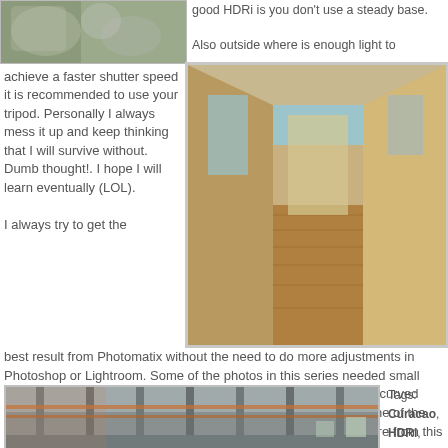[Figure (photo): Partial photo of an animal (cat or owl) visible at top left]
good HDRi is you don't use a steady base.

Also outside where is enough light to
achieve a faster shutter speed it is recommended to use your tripod. Personally I always mess it up and keep thinking that I will survive without. Dumb thought!. I hope I will learn eventually (LOL).
[Figure (photo): HDR interior photo of a derelict building hallway with wooden floors and arched doorway, warm golden tones]
I always try to get the best result from Photomatix without the need to do more adjustments in Photoshop or Lightroom. Some of the photos in this series needed small corrections because I used a width angle lens and I don't like the curved lines. But that was basically it. Want to see more? Just click on one of the photos and you will be taken to the gallery where you will find more from this serries.
[Figure (photo): HDR interior photo of derelict industrial building with metal columns, warm and cool tones]
Tags:
Curacao,
HDRi,
Photomatix